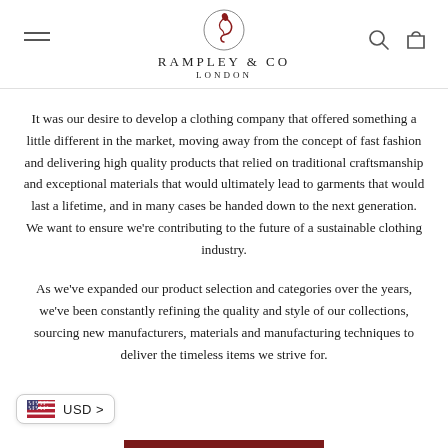RAMPLEY & CO LONDON
It was our desire to develop a clothing company that offered something a little different in the market, moving away from the concept of fast fashion and delivering high quality products that relied on traditional craftsmanship and exceptional materials that would ultimately lead to garments that would last a lifetime, and in many cases be handed down to the next generation. We want to ensure we're contributing to the future of a sustainable clothing industry.
As we've expanded our product selection and categories over the years, we've been constantly refining the quality and style of our collections, sourcing new manufacturers, materials and manufacturing techniques to deliver the timeless items we strive for.